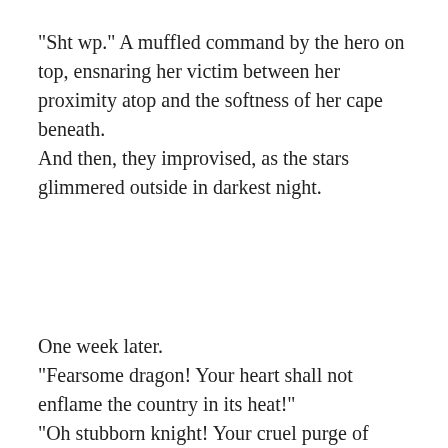"Sht wp." A muffled command by the hero on top, ensnaring her victim between her proximity atop and the softness of her cape beneath.
And then, they improvised, as the stars glimmered outside in darkest night.
One week later.
"Fearsome dragon! Your heart shall not enflame the country in its heat!"
"Oh stubborn knight! Your cruel purge of freedom will not curse these lands, no more! Hyarrgh!"